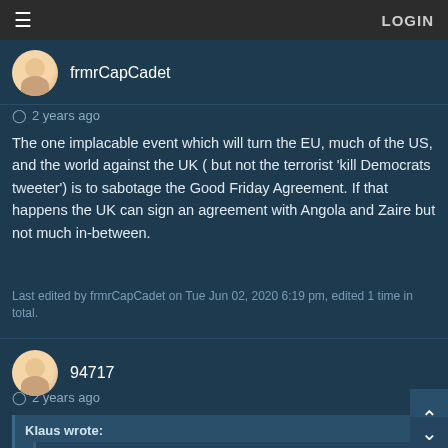≡  LOGIN
frmrCapCadet
2 years ago
The one implacable event which will turn the EU, much of the US, and the world against the UK ( but not the terrorist 'kill Democrats tweeter') is to sabotage the Good Friday Agreement. If that happens the UK can sign an agreement with Angola and Zaire but not much in-between.
Last edited by frmrCapCadet on Tue Jun 02, 2020 6:19 pm, edited 1 time in total.
94717
2 years ago
Klaus wrote:
olle wrote:
aemoreira1981 wrote:
The UK would need a deal with the USA first. But with the way the USA is now, I don't see any deal